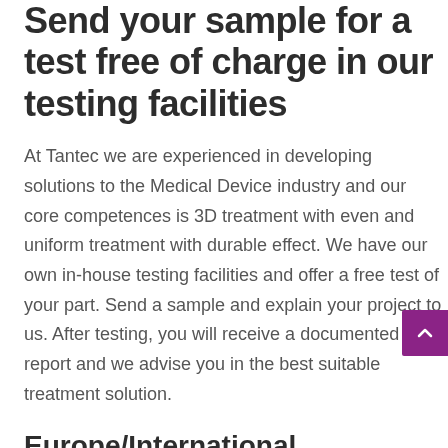Send your sample for a test free of charge in our testing facilities
At Tantec we are experienced in developing solutions to the Medical Device industry and our core competences is 3D treatment with even and uniform treatment with durable effect. We have our own in-house testing facilities and offer a free test of your part. Send a sample and explain your project to us. After testing, you will receive a documented report and we advise you in the best suitable treatment solution.
Europe/International